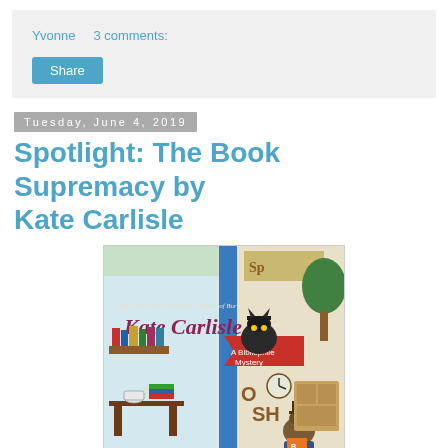Yvonne   3 comments:
Share
Tuesday, June 4, 2019
Spotlight: The Book Supremacy by Kate Carlisle
[Figure (illustration): Book cover of 'The Book Supremacy' by Kate Carlisle, a Bibliophile Mystery. Shows a bookshop scene with a cat wearing a hat, bookshelves, a clock, and cozy interior details. Text at top: New York Times Bestselling Author of Buried in Books.]